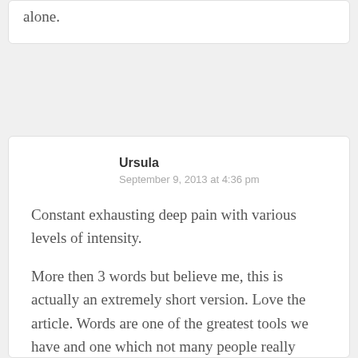alone.
Ursula
September 9, 2013 at 4:36 pm
Constant exhausting deep pain with various levels of intensity.
More then 3 words but believe me, this is actually an extremely short version. Love the article. Words are one of the greatest tools we have and one which not many people really think about. Thanks for writing about this.